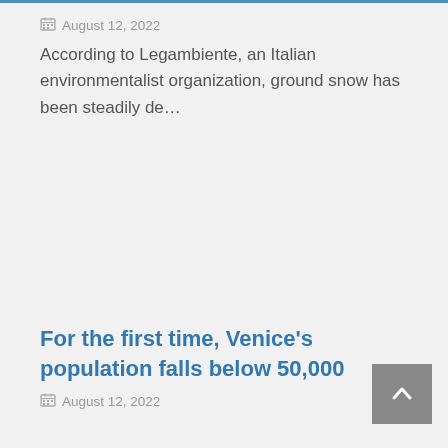August 12, 2022
According to Legambiente, an Italian environmentalist organization, ground snow has been steadily de…
For the first time, Venice's population falls below 50,000
August 12, 2022